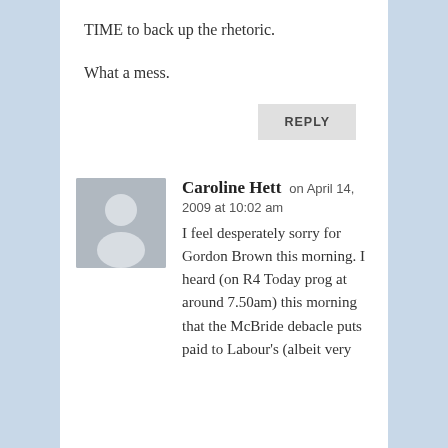TIME to back up the rhetoric.
What a mess.
REPLY
Caroline Hett on April 14, 2009 at 10:02 am
I feel desperately sorry for Gordon Brown this morning. I heard (on R4 Today prog at around 7.50am) this morning that the McBride debacle puts paid to Labour's (albeit very